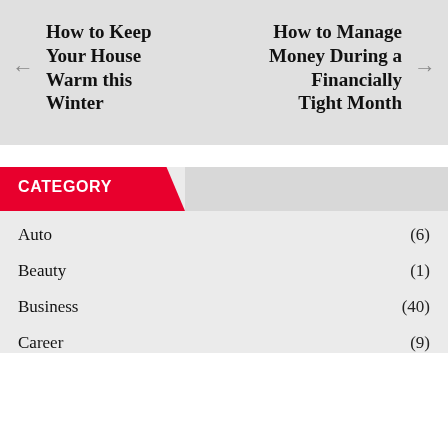How to Keep Your House Warm this Winter
How to Manage Money During a Financially Tight Month
CATEGORY
Auto (6)
Beauty (1)
Business (40)
Career (9)